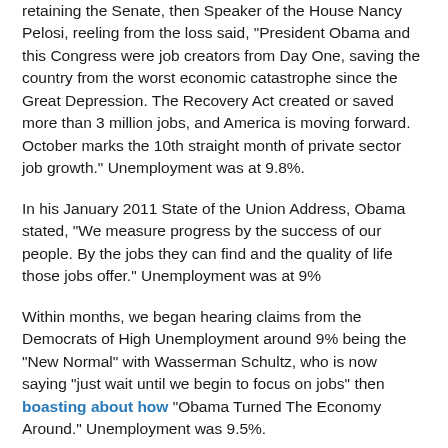retaining the Senate, then Speaker of the House Nancy Pelosi, reeling from the loss said, “President Obama and this Congress were job creators from Day One, saving the country from the worst economic catastrophe since the Great Depression. The Recovery Act created or saved more than 3 million jobs, and America is moving forward. October marks the 10th straight month of private sector job growth.” Unemployment was at 9.8%.
In his January 2011 State of the Union Address, Obama stated, “We measure progress by the success of our people. By the jobs they can find and the quality of life those jobs offer.” Unemployment was at 9%
Within months, we began hearing claims from the Democrats of High Unemployment around 9% being the “New Normal” with Wasserman Schultz, who is now saying “just wait until we begin to focus on jobs” then boasting about how “Obama Turned The Economy Around.” Unemployment was 9.5%.
In just the last days we see Obama proposing yet another